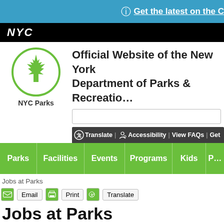Get the latest on the C…
[Figure (logo): NYC government logo white text on black bar]
[Figure (logo): NYC Parks green leaf logo in circle with text 'NYC Parks']
Official Website of the New York Department of Parks & Recreation
Translate | Accessibility | View FAQs | Get…
Parks
Facilities
Events
Programs
Kids
Jobs at Parks
Email | Print | Translate
Jobs at Parks
[Figure (photo): Trees in a park, bare branches against cloudy sky with green foliage]